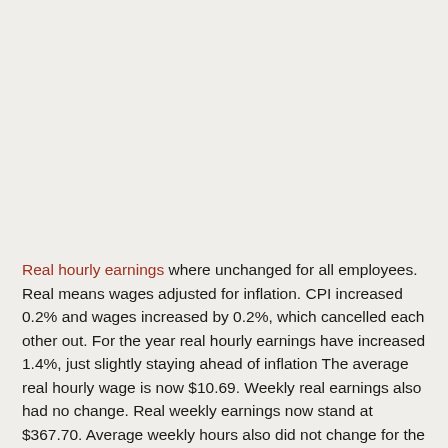Real hourly earnings where unchanged for all employees. Real means wages adjusted for inflation. CPI increased 0.2% and wages increased by 0.2%, which cancelled each other out. For the year real hourly earnings have increased 1.4%, just slightly staying ahead of inflation The average real hourly wage is now $10.69. Weekly real earnings also had no change. Real weekly earnings now stand at $367.70. Average weekly hours also did not change for the month and are 34.4/wk. There is a separate category for production and nonsupervisory employees and their real hourly earnings decreased -0.2%.